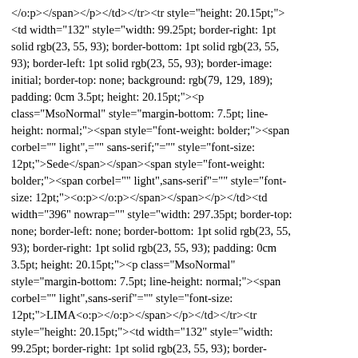</o:p></span></p></td></tr><tr style="height: 20.15pt;"><td width="132" style="width: 99.25pt; border-right: 1pt solid rgb(23, 55, 93); border-bottom: 1pt solid rgb(23, 55, 93); border-left: 1pt solid rgb(23, 55, 93); border-image: initial; border-top: none; background: rgb(79, 129, 189); padding: 0cm 3.5pt; height: 20.15pt;"><p class="MsoNormal" style="margin-bottom: 7.5pt; line-height: normal;"><span style="font-weight: bolder;"><span corbel="" light",="" sans-serif;"="" style="font-size: 12pt;">Sede</span></span><span style="font-weight: bolder;"><span corbel="" light",sans-serif"="" style="font-size: 12pt;"><o:p></o:p></span></span></p></td><td width="396" nowrap="" style="width: 297.35pt; border-top: none; border-left: none; border-bottom: 1pt solid rgb(23, 55, 93); border-right: 1pt solid rgb(23, 55, 93); padding: 0cm 3.5pt; height: 20.15pt;"><p class="MsoNormal" style="margin-bottom: 7.5pt; line-height: normal;"><span corbel="" light",sans-serif"="" style="font-size: 12pt;">LIMA<o:p></o:p></span></p></td></tr><tr style="height: 20.15pt;"><td width="132" style="width: 99.25pt; border-right: 1pt solid rgb(23, 55, 93); border-bottom: 1pt solid rgb(23, 55, 93); border-left: 1pt solid rgb(23, 55, 93); border-image: initial; border-top: none; background: rgb(79, 129, 189); padding: 0cm 3.5pt; height: 20.15pt;"><p class="MsoNormal" style="margin-bottom: